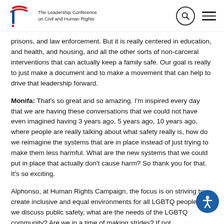The Leadership Conference on Civil and Human Rights
prisons, and law enforcement. But it is really centered in education, and health, and housing, and all the other sorts of non-carceral interventions that can actually keep a family safe. Our goal is really to just make a document and to make a movement that can help to drive that leadership forward.
Monifa: That's so great and so amazing. I'm inspired every day that we are having these conversations that we could not have even imagined having 3 years ago, 5 years ago, 10 years ago, where people are really talking about what safety really is, how do we reimagine the systems that are in place instead of just trying to make them less harmful. What are the new systems that we could put in place that actually don't cause harm? So thank you for that. It's so exciting.
Alphonso, at Human Rights Campaign, the focus is on striving to create inclusive and equal environments for all LGBTQ people. As we discuss public safety, what are the needs of the LGBTQ community? Are we in a time of making strides? If not...